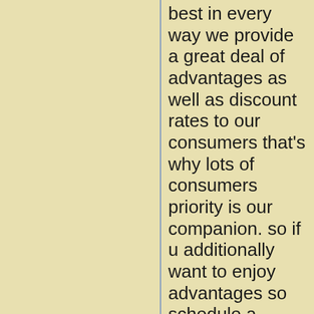best in every way we provide a great deal of advantages as well as discount rates to our consumers that's why lots of consumers priority is our companion. so if u additionally want to enjoy advantages so schedule a woman from a company. Here are the biggest as well as extra appreciating solutions of our ladies are: Appreciate dirty dance Kisses their naked body Attain your salacious creative imaginations Have sex in Numerous placements Appreciate insane verbal sexual intercourse Experiment in bed Play unclean video games So come quickly and also play with the sexy bodies